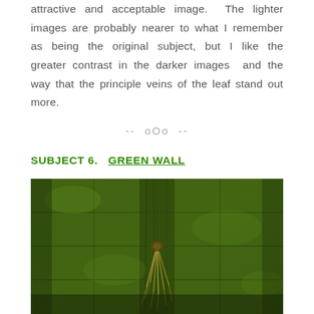attractive and acceptable image. The lighter images are probably nearer to what I remember as being the original subject, but I like the greater contrast in the darker images and the way that the principle veins of the leaf stand out more.
-- oOo --
SUBJECT 6.   GREEN WALL
[Figure (photo): A stone or concrete wall covered in dark green moss, with vertical pillar-like sections. A dried plant or grass tuft hangs from the center of the wall.]